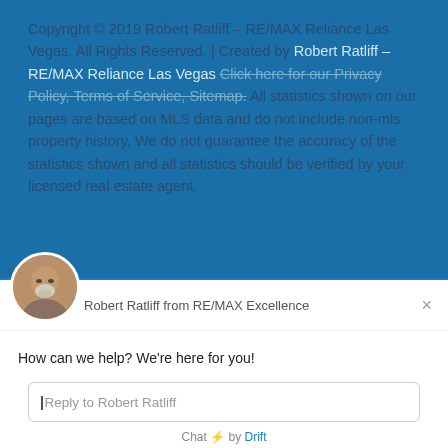Copyright © 2019 Robert Ratliff – RE/MAX Reliance Las Vegas. All Rights Reserved. | Created by Robert Ratliff – RE/MAX Reliance Las Vegas Click here for our Privacy Policy, Terms of Service, Sitemap. All statistics shown on our pages are based on MLS data and do not include non-mls property history. We do not guarantee the accuracy of the statistics shown and all statistics should be verified by your licensed real estate agent.
[Figure (photo): Chat widget with avatar photo of Robert Ratliff (bald man with white beard), name 'Robert Ratliff from RE/MAX Excellence', greeting message 'How can we help? We're here for you!', reply input field, and 'Chat by Drift' footer.]